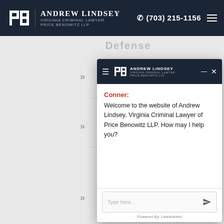Andrew Lindsey Virginia Criminal Lawyer Price Benowitz LLP | (703) 215-1156
[Figure (screenshot): Website screenshot showing a chat popup overlay on the Andrew Lindsey Virginia Criminal Lawyer website. The popup has a dark navy header with the firm logo and Andrew Lindsey branding, a chat body with 'Conner:' in red followed by a welcome message, an input box with 'Type here...' placeholder and a send icon, and 'Powered By: LiveAdmins' footer.]
Conner: Welcome to the website of Andrew Lindsey, Virginia Criminal Lawyer of Price Benowitz LLP. How may I help you?
Type here...
Powered By: LiveAdmins